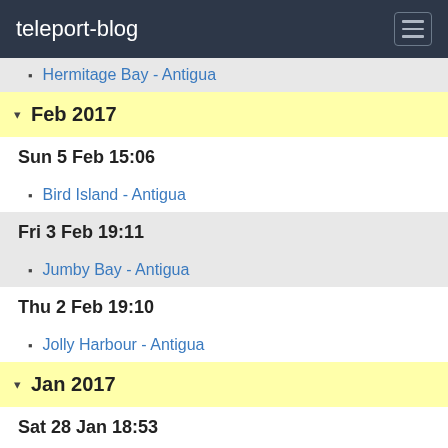teleport-blog
Hermitage Bay - Antigua
▾ Feb 2017
Sun 5 Feb 15:06
Bird Island - Antigua
Fri 3 Feb 19:11
Jumby Bay - Antigua
Thu 2 Feb 19:10
Jolly Harbour - Antigua
▾ Jan 2017
Sat 28 Jan 18:53
Falmouth Harbour - Antigua
Thu 26 Jan 21:31
Jolly Harbour - Antigua
Wed 25 Jan 21:31